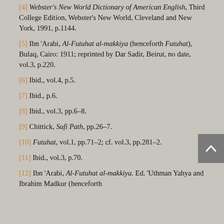[4] Webster's New World Dictionary of American English, Third College Edition, Webster's New World, Cleveland and New York, 1991, p.1144.
[5] Ibn 'Arabi, Al-Futuhat al-makkiya (henceforth Futuhat), Bulaq, Cairo: 1911; reprinted by Dar Sadir, Beirut, no date, vol.3, p.220.
[6] Ibid., vol.4, p.5.
[7] Ibid., p.6.
[8] Ibid., vol.3, pp.6–8.
[9] Chittick, Sufi Path, pp.26–7.
[10] Futuhat, vol.1, pp.71–2; cf. vol.3, pp.281–2.
[11] Ibid., vol.3, p.70.
[12] Ibn 'Arabi, Al-Futuhat al-makkiya. Ed. 'Uthman Yahya and Ibrahim Madkur (henceforth